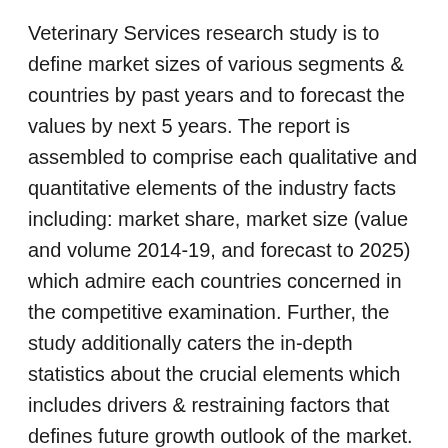Veterinary Services research study is to define market sizes of various segments & countries by past years and to forecast the values by next 5 years. The report is assembled to comprise each qualitative and quantitative elements of the industry facts including: market share, market size (value and volume 2014-19, and forecast to 2025) which admire each countries concerned in the competitive examination. Further, the study additionally caters the in-depth statistics about the crucial elements which includes drivers & restraining factors that defines future growth outlook of the market.
Important years considered in the study are: Historical year – 2014-2019 ; Base year – 2019;